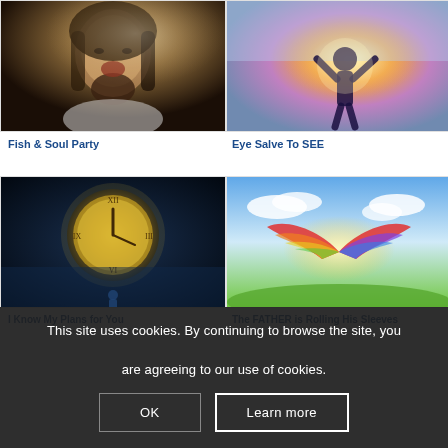[Figure (illustration): Digital painting of a bearded man with long hair, head tilted back, mouth open, appears to be singing or rejoicing]
Fish & Soul Party
[Figure (illustration): Silhouette of a child figure with arms raised against a bright glowing light with purple and golden sky background]
Eye Salve To SEE
[Figure (illustration): Dark atmospheric scene with a giant glowing golden clock with Roman numerals and a small figure standing below]
I Know My Plans for You
[Figure (illustration): Two colorful butterfly or angel wings spread apart in a sunny green meadow with clouds]
The FATHER is Rolling His Sleeves
This site uses cookies. By continuing to browse the site, you are agreeing to our use of cookies.
OK
Learn more